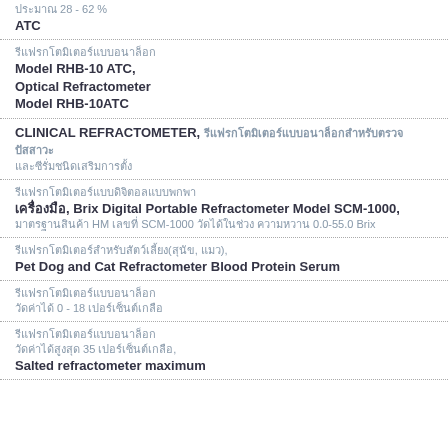ประมาณ 28 - 62 %
ATC
รีแฟรกโตมิเตอร์แบบอนาล็อก
Model RHB-10 ATC, Optical Refractometer Model RHB-10ATC
CLINICAL REFRACTOMETER, รีแฟรกโตมิเตอร์แบบอนาล็อกสำหรับตรวจปัสสาวะและซีรั่มชนิดเสริมการตั้ง
รีแฟรกโตมิเตอร์แบบดิจิตอลแบบพกพา, Brix Digital Portable Refractometer Model SCM-1000, มาตรฐานสินค้า HM เลขที่ SCM-1000 วัดได้ในช่วง ความหวาน 0.0-55.0 Brix
รีแฟรกโตมิเตอร์สำหรับสัตว์เลี้ยง(สุนัข, แมว), Pet Dog and Cat Refractometer Blood Protein Serum
รีแฟรกโตมิเตอร์แบบอนาล็อก วัดค่าได้ 0 - 18 เปอร์เซ็นต์เกลือ
รีแฟรกโตมิเตอร์แบบอนาล็อก วัดค่าได้สูงสุด 35 เปอร์เซ็นต์เกลือ, Salted refractometer maximum